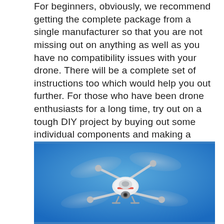For beginners, obviously, we recommend getting the complete package from a single manufacturer so that you are not missing out on anything as well as you have no compatibility issues with your drone. There will be a complete set of instructions too which would help you out further. For those who have been drone enthusiasts for a long time, try out on a tough DIY project by buying out some individual components and making a drone yourself. You can get maximum customization too!
[Figure (photo): A white quadcopter drone photographed from below against a bright blue sky. The drone's four spinning propellers are visible as blurred arcs. The drone body is white with red accents and has a camera gimbal mounted underneath.]